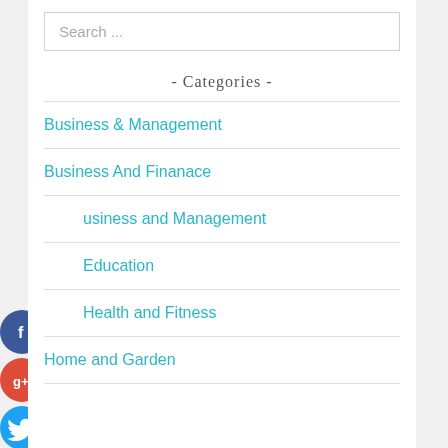Search ...
- Categories -
Business & Management
Business And Finanace
Business and Management
Education
Health and Fitness
Home and Garden